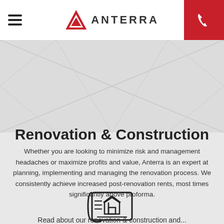ANTERRA
Renovation & Construction
Whether you are looking to minimize risk and management headaches or maximize profits and value, Anterra is an expert at planning, implementing and managing the renovation process. We consistently achieve increased post-renovation rents, most times significantly above proforma.
[Figure (illustration): Blueprint/house plan scroll icon — a rolled document with a house outline and horizontal lines representing a construction plan]
Read about our renovation & construction and...